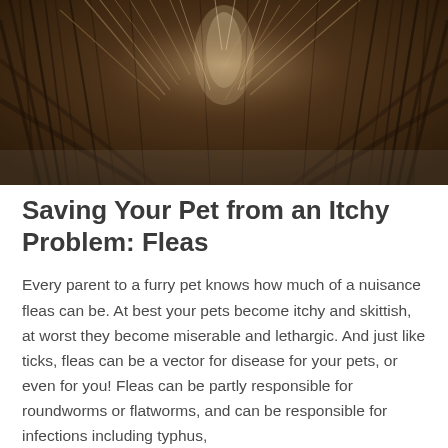[Figure (photo): Close-up photograph of animal fur (cat or dog), dark brown with lighter streaks, showing a parting or swirl in the fur revealing the skin beneath]
Saving Your Pet from an Itchy Problem: Fleas
Every parent to a furry pet knows how much of a nuisance fleas can be. At best your pets become itchy and skittish, at worst they become miserable and lethargic. And just like ticks, fleas can be a vector for disease for your pets, or even for you! Fleas can be partly responsible for roundworms or flatworms, and can be responsible for infections including typhus,